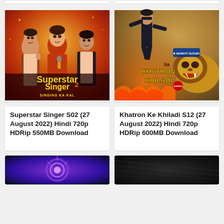[Figure (photo): Superstar Singer Season 2 show poster with three hosts and yellow/red branding text 'Superstar Singer 2 Singing Ka Kal']
Superstar Singer S02 (27 August 2022) Hindi 720p HDRip 550MB Download
[Figure (photo): Khatron Ke Khiladi Season 12 show poster with action hero and lion, Maruti Suzuki sponsor logo]
Khatron Ke Khiladi S12 (27 August 2022) Hindi 720p HDRip 600MB Download
[Figure (photo): Bottom left show thumbnail with purple/blue lighting]
[Figure (photo): Bottom right show thumbnail with dark background]